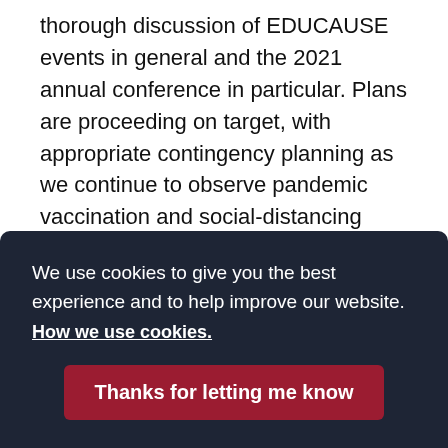thorough discussion of EDUCAUSE events in general and the 2021 annual conference in particular. Plans are proceeding on target, with appropriate contingency planning as we continue to observe pandemic vaccination and social-distancing guideline trends.
Note: The summary for our year-end 2020 Board meeting was a casualty of the whirlwind that was 2020, but please note
We use cookies to give you the best experience and to help improve our website. How we use cookies. Thanks for letting me know